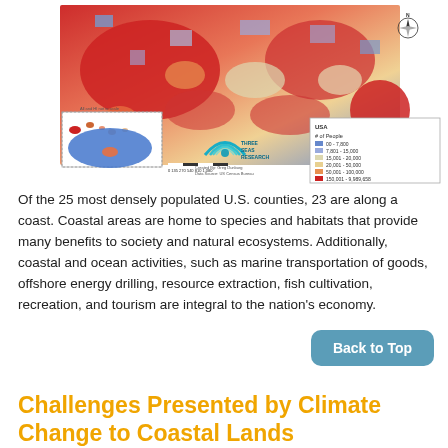[Figure (map): Choropleth map of the USA showing population by county using a color scale from blue (0-7,800) to dark red (150,001-9,989,658). Includes insets for Hawaii and Alaska, a compass rose, scale bar, Three Seas Research logo, and a legend labeled 'USA # of People'.]
Of the 25 most densely populated U.S. counties, 23 are along a coast. Coastal areas are home to species and habitats that provide many benefits to society and natural ecosystems. Additionally, coastal and ocean activities, such as marine transportation of goods, offshore energy drilling, resource extraction, fish cultivation, recreation, and tourism are integral to the nation's economy.
Challenges Presented by Climate Change to Coastal Lands